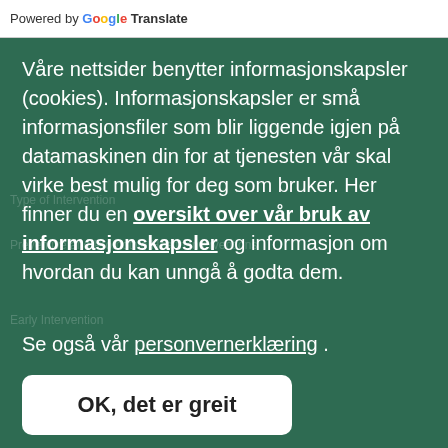Powered by Google Translate
Våre nettsider benytter informasjonskapsler (cookies). Informasjonskapsler er små informasjonsfiler som blir liggende igjen på datamaskinen din for at tjenesten vår skal virke best mulig for deg som bruker. Her finner du en oversikt over vår bruk av informasjonskapsler og informasjon om hvordan du kan unngå å godta dem.
Se også vår personvernerklæring .
OK, det er greit